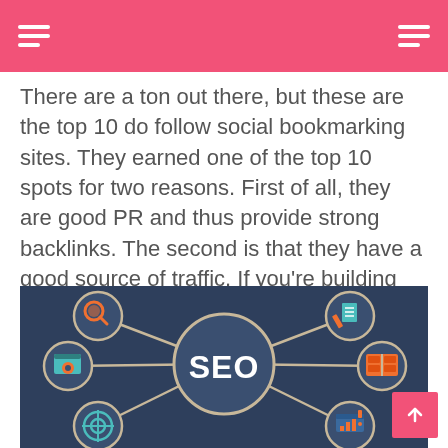There are a ton out there, but these are the top 10 do follow social bookmarking sites. They earned one of the top 10 spots for two reasons. First of all, they are good PR and thus provide strong backlinks. The second is that they have a good source of traffic. If you're building backlinks this way why not get some great free traffic in the process?
[Figure (infographic): SEO infographic showing a central circle labeled 'SEO' connected to smaller circles with icons: search/magnifying glass (orange), document/pencil (teal/blue), book/window (orange), target/crosshair (teal), and a bar chart icon (orange), on a dark navy background with beige connecting lines.]